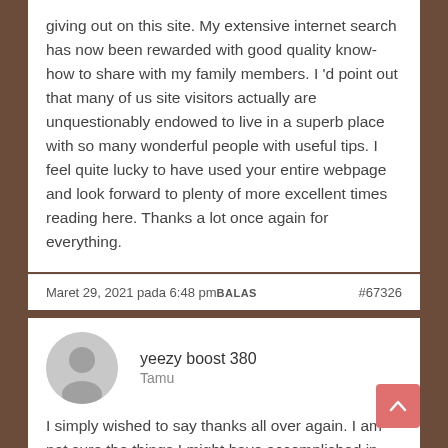giving out on this site. My extensive internet search has now been rewarded with good quality know-how to share with my family members. I 'd point out that many of us site visitors actually are unquestionably endowed to live in a superb place with so many wonderful people with useful tips. I feel quite lucky to have used your entire webpage and look forward to plenty of more excellent times reading here. Thanks a lot once again for everything.
Maret 29, 2021 pada 6:48 pm BALAS  #67326
yeezy boost 380
Tamu
I simply wished to say thanks all over again. I am not sure the things I might have accomplished in the absence of the entire recommendations provided by